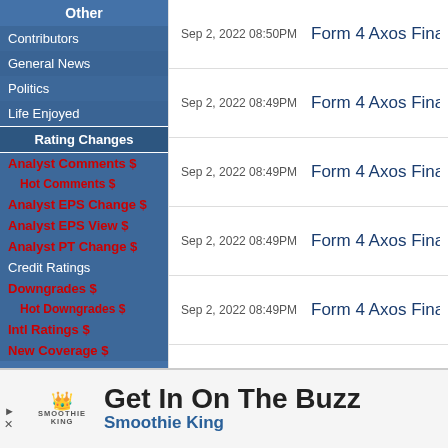Other
Contributors
General News
Politics
Life Enjoyed
Rating Changes
Analyst Comments $
Hot Comments $
Analyst EPS Change $
Analyst EPS View $
Analyst PT Change $
Credit Ratings
Downgrades $
Hot Downgrades $
Intl Ratings $
New Coverage $
Sep 2, 2022 08:50PM   Form 4 Axos Fina...
Sep 2, 2022 08:49PM   Form 4 Axos Fina...
Sep 2, 2022 08:49PM   Form 4 Axos Fina...
Sep 2, 2022 08:49PM   Form 4 Axos Fina...
Sep 2, 2022 08:49PM   Form 4 Axos Fina...
Sep 2, 2022 08:48PM   Form 4 Axos Fina...
Get In On The Buzz
Smoothie King